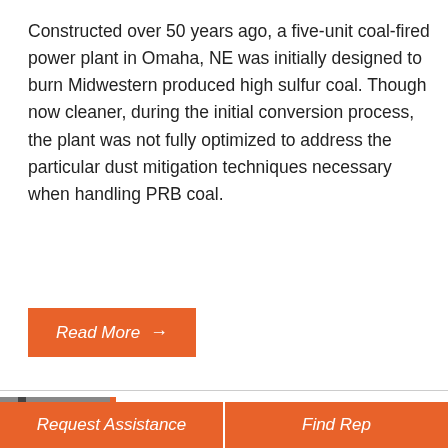Constructed over 50 years ago, a five-unit coal-fired power plant in Omaha, NE was initially designed to burn Midwestern produced high sulfur coal. Though now cleaner, during the initial conversion process, the plant was not fully optimized to address the particular dust mitigation techniques necessary when handling PRB coal.
Read More →
[Figure (photo): Industrial coal-fired power plant facility with equipment and structures visible]
MartinPLUS® Service Techs Replace Worn Out Chutes And
Request Assistance
Find Rep